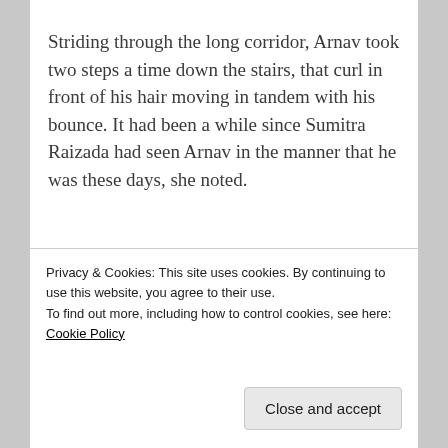Striding through the long corridor, Arnav took two steps a time down the stairs, that curl in front of his hair moving in tandem with his bounce. It had been a while since Sumitra Raizada had seen Arnav in the manner that he was these days, she noted.
[Figure (other): Green advertisement banner with bold white text reading 'The best real-time WordPress backup plugin']
Privacy & Cookies: This site uses cookies. By continuing to use this website, you agree to their use.
To find out more, including how to control cookies, see here: Cookie Policy